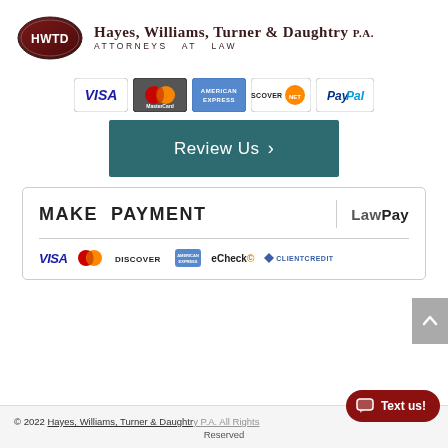[Figure (logo): HWTD logo badge (dark red oval with white HWTD text) and firm name 'Hayes, Williams, Turner & Daughtry P.A. Attorneys at Law']
[Figure (infographic): Payment method icons: Visa, MasterCard, American Express, Discover, PayPal]
[Figure (other): Teal 'Review Us >' button]
[Figure (infographic): Make Payment LawPay box with payment icons: Visa, MasterCard, Discover, Amex, eCheck, ClientCredit]
© 2022 Hayes, Williams, Turner & Daughtry P.A. All Rights Reserved